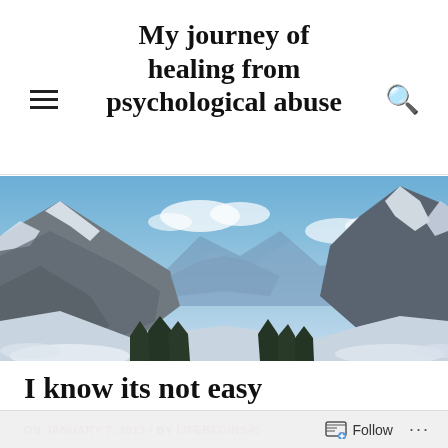My journey of healing from psychological abuse
[Figure (photo): Panoramic mountain landscape with snow-capped peaks, blue sky with clouds, and a valley with trees]
I know its not easy
ON JANUARY 7, 2013 / BY LIFEBEGINS45